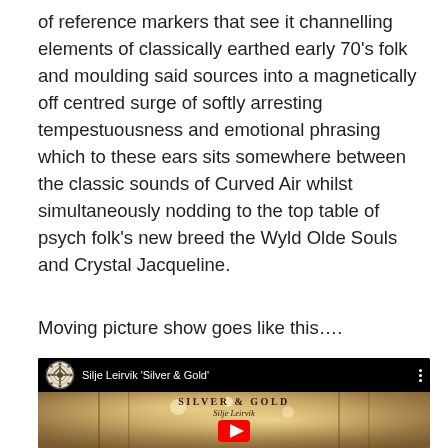of reference markers that see it channelling elements of classically earthed early 70's folk and moulding said sources into a magnetically off centred surge of softly arresting tempestuousness and emotional phrasing which to these ears sits somewhere between the classic sounds of Curved Air whilst simultaneously nodding to the top table of psych folk's new breed the Wyld Olde Souls and Crystal Jacqueline.
Moving picture show goes like this….
[Figure (screenshot): YouTube video embed showing Silje Leirvik 'Silver & Gold' with a decorative snowflake logo in top bar. The thumbnail shows golden light through trees with 'SILVER & GOLD' and 'Silje Leirvik' text overlaid, and a YouTube play button at the bottom.]